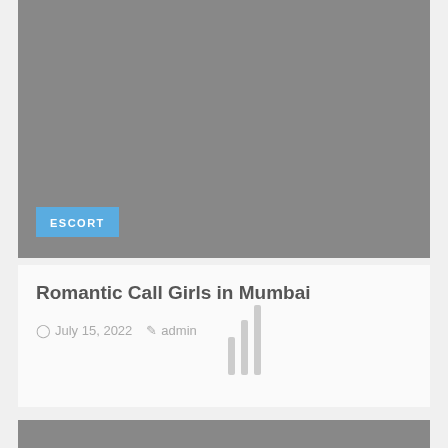[Figure (photo): Gray placeholder image block at the top of a blog post card]
ESCORT
Romantic Call Girls in Mumbai
July 15, 2022  admin
[Figure (photo): Gray placeholder image block for second blog post card]